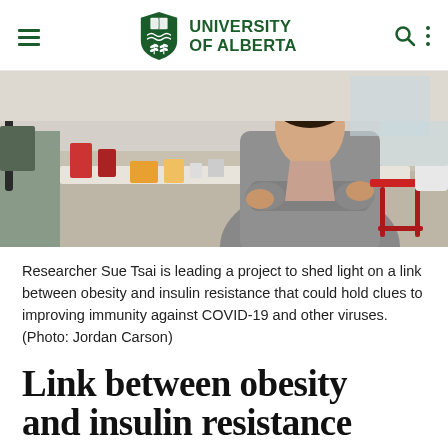UNIVERSITY OF ALBERTA
[Figure (photo): Researcher Sue Tsai standing with arms crossed in a laboratory setting, wearing a grey cardigan. Lab equipment, bottles, and a red stool visible in the background.]
Researcher Sue Tsai is leading a project to shed light on a link between obesity and insulin resistance that could hold clues to improving immunity against COVID-19 and other viruses. (Photo: Jordan Carson)
Link between obesity and insulin resistance